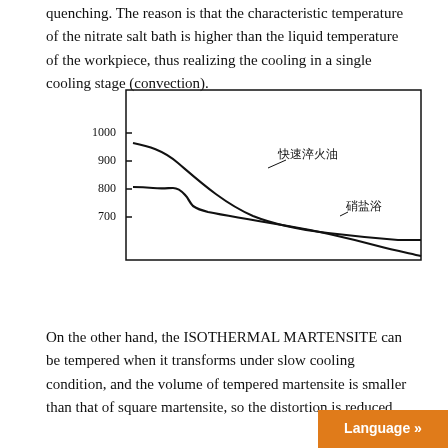quenching. The reason is that the characteristic temperature of the nitrate salt bath is higher than the liquid temperature of the workpiece, thus realizing the cooling in a single cooling stage (convection).
[Figure (continuous-plot): A line graph showing two cooling curves: one labeled 快速淬火油 (fast quenching oil) and one labeled 硝盐浴 (nitrate salt bath). Y-axis shows temperature values 1000, 900, 800, 700. The nitrate salt bath curve stays lower and flatter while the quenching oil curve descends more steeply.]
On the other hand, the ISOTHERMAL MARTENSITE can be tempered when it transforms under slow cooling condition, and the volume of tempered martensite is smaller than that of square martensite, so the distortion is reduced.